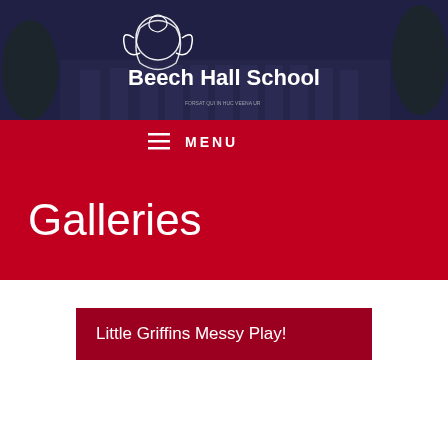[Figure (logo): Beech Hall School logo with griffin mascot and school name]
☰ MENU
Galleries
Little Griffins Messy Play!